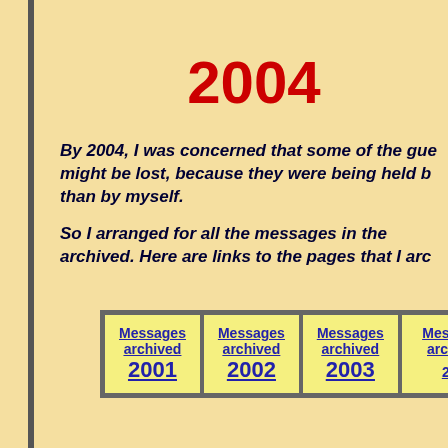2004
By 2004, I was concerned that some of the gue might be lost, because they were being held b than by myself.
So I arranged for all the messages in the archived. Here are links to the pages that I arc
| Messages archived 2001 | Messages archived 2002 | Messages archived 2003 | Messages archived 200 |
| --- | --- | --- | --- |
| Messages
archived
2001 | Messages
archived
2002 | Messages
archived
2003 | Messages
archived 200 |